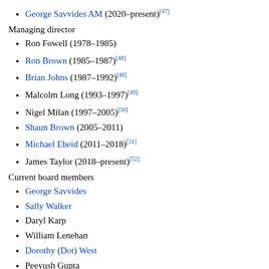George Savvides AM (2020–present)[47]
Managing director
Ron Fowell (1978–1985)
Ron Brown (1985–1987)[48]
Brian Johns (1987–1992)[48]
Malcolm Long (1993–1997)[49]
Nigel Milan (1997–2005)[50]
Shaun Brown (2005–2011)
Michael Ebeid (2011–2018)[51]
James Taylor (2018–present)[52]
Current board members
George Savvides
Sally Walker
Daryl Karp
William Lenehan
Dorothy (Dot) West
Peeyush Gupta
See also